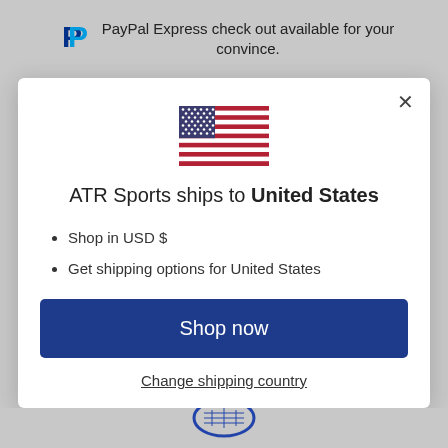[Figure (logo): PayPal logo (blue P symbol)]
PayPal Express check out available for your convince.
[Figure (illustration): US flag emoji]
ATR Sports ships to United States
Shop in USD $
Get shipping options for United States
Shop now
Change shipping country